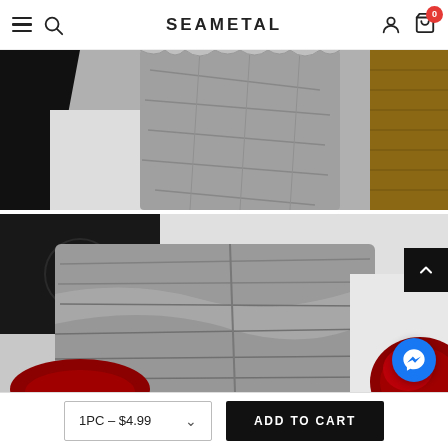SEAMETAL
[Figure (photo): Close-up photo of a gray microfiber towel being used to dry/wipe a white car surface, showing textured cloth detail and car panel.]
[Figure (photo): Photo of a gray microfiber towel being held near a white car with a dark red tail light visible, demonstrating the product in use.]
1PC – $4.99
ADD TO CART